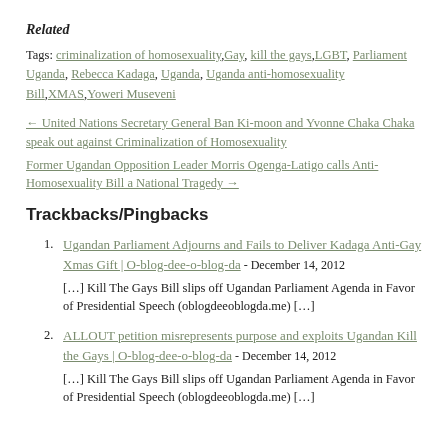Related
Tags: criminalization of homosexuality, Gay, kill the gays, LGBT, Parliament Uganda, Rebecca Kadaga, Uganda, Uganda anti-homosexuality Bill, XMAS, Yoweri Museveni
← United Nations Secretary General Ban Ki-moon and Yvonne Chaka Chaka speak out against Criminalization of Homosexuality
Former Ugandan Opposition Leader Morris Ogenga-Latigo calls Anti-Homosexuality Bill a National Tragedy →
Trackbacks/Pingbacks
1. Ugandan Parliament Adjourns and Fails to Deliver Kadaga Anti-Gay Xmas Gift | O-blog-dee-o-blog-da - December 14, 2012
[…] Kill The Gays Bill slips off Ugandan Parliament Agenda in Favor of Presidential Speech (oblogdeeoblogda.me) […]
2. ALLOUT petition misrepresents purpose and exploits Ugandan Kill the Gays | O-blog-dee-o-blog-da - December 14, 2012
[…] Kill The Gays Bill slips off Ugandan Parliament Agenda in Favor of Presidential Speech (oblogdeeoblogda.me) […]